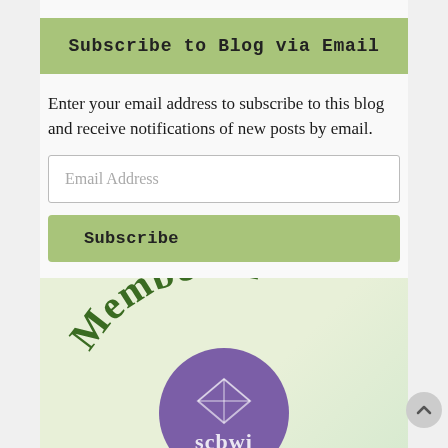Subscribe to Blog via Email
Enter your email address to subscribe to this blog and receive notifications of new posts by email.
[Figure (screenshot): Email Address input field (text box placeholder)]
[Figure (screenshot): Subscribe button with green background]
[Figure (logo): SCBWI Member badge: circular purple logo with kite icon and 'scbwi' text, with 'Member of' arched above in dark green on light green background]